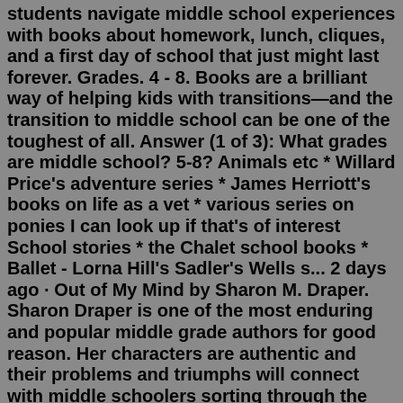students navigate middle school experiences with books about homework, lunch, cliques, and a first day of school that just might last forever. Grades. 4 - 8. Books are a brilliant way of helping kids with transitions—and the transition to middle school can be one of the toughest of all. Answer (1 of 3): What grades are middle school? 5-8? Animals etc * Willard Price's adventure series * James Herriott's books on life as a vet * various series on ponies I can look up if that's of interest School stories * the Chalet school books * Ballet - Lorna Hill's Sadler's Wells s... 2 days ago · Out of My Mind by Sharon M. Draper. Sharon Draper is one of the most enduring and popular middle grade authors for good reason. Her characters are authentic and their problems and triumphs will connect with middle schoolers sorting through the changes in their lives. This book is the story of 11-year-old Melody who cannot speak, write, or move ... May 05, 2017 · Matilda is smart—smarter than the adults around her—which in her parents' case isn't too hard. It's hard to believe this classic is nearly 30-